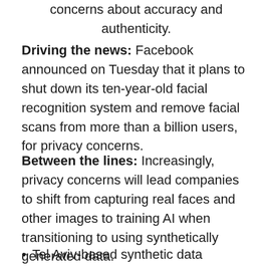concerns about accuracy and authenticity.
Driving the news: Facebook announced on Tuesday that it plans to shut down its ten-year-old facial recognition system and remove facial scans from more than a billion users, for privacy concerns.
Between the lines: Increasingly, privacy concerns will lead companies to shift from capturing real faces and other images to training AI when transitioning to using synthetically generated data.
Tel Aviv-based synthetic data company